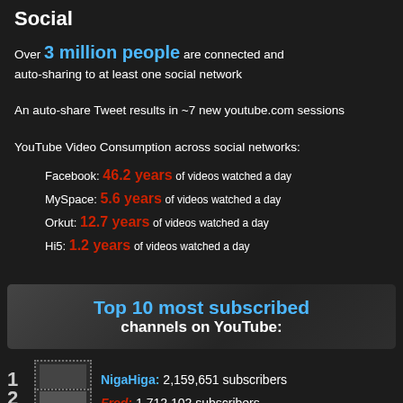Social
Over 3 million people are connected and auto-sharing to at least one social network
An auto-share Tweet results in ~7 new youtube.com sessions
YouTube Video Consumption across social networks:
Facebook: 46.2 years of videos watched a day
MySpace: 5.6 years of videos watched a day
Orkut: 12.7 years of videos watched a day
Hi5: 1.2 years of videos watched a day
Top 10 most subscribed channels on YouTube:
1 NigaHiga: 2,159,651 subscribers
2 Fred: 1,712,102 subscribers